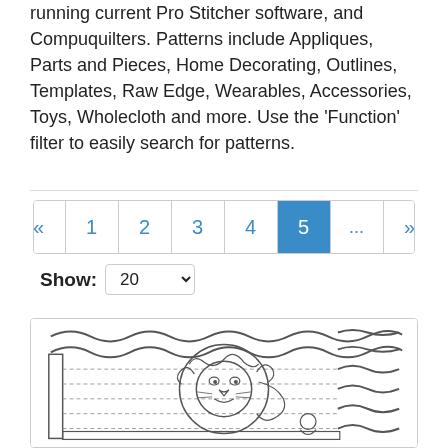running current Pro Stitcher software, and Compuquilters. Patterns include Appliques, Parts and Pieces, Home Decorating, Outlines, Templates, Raw Edge, Wearables, Accessories, Toys, Wholecloth and more. Use the ‘Function’ filter to easily search for patterns.
[Figure (screenshot): Pagination control showing pages 1-5 with current page 5 highlighted in blue, ellipsis, and next arrow. Below is a Show dropdown set to 20.]
[Figure (illustration): A quilting pattern thumbnail showing a lion design with wavy borders and dotted grid lines, outlined in black on white background.]